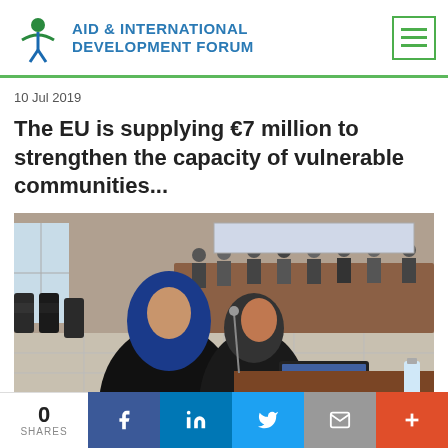AID & INTERNATIONAL DEVELOPMENT FORUM
10 Jul 2019
The EU is supplying €7 million to strengthen the capacity of vulnerable communities...
[Figure (photo): Conference room scene showing women in foreground working on a laptop, with a large meeting table and seated participants in the background.]
0 SHARES